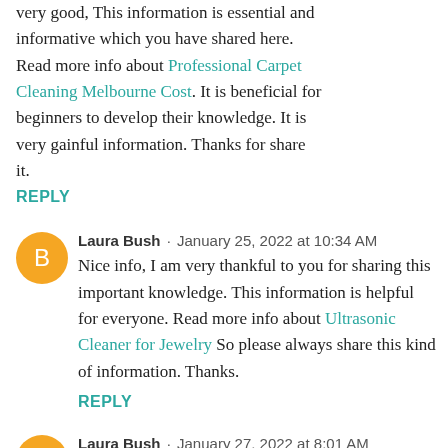very good, This information is essential and informative which you have shared here. Read more info about Professional Carpet Cleaning Melbourne Cost. It is beneficial for beginners to develop their knowledge. It is very gainful information. Thanks for share it.
REPLY
Laura Bush · January 25, 2022 at 10:34 AM
Nice info, I am very thankful to you for sharing this important knowledge. This information is helpful for everyone. Read more info about Ultrasonic Cleaner for Jewelry So please always share this kind of information. Thanks.
REPLY
Laura Bush · January 27, 2022 at 8:01 AM